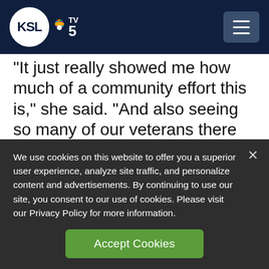[Figure (logo): KSL TV 5 NBC logo in white circle on dark navy header with hamburger menu button]
“It just really showed me how much of a community effort this is,” she said. “And also seeing so many of our veterans there and wearing their hats and telling me, ‘Thank you,’ and then telling each other, ‘Thank you for (your) service in the military’ was pretty
We use cookies on this website to offer you a superior user experience, analyze site traffic, and personalize content and advertisements. By continuing to use our site, you consent to our use of cookies. Please visit our Privacy Policy for more information.
Accept Cookies